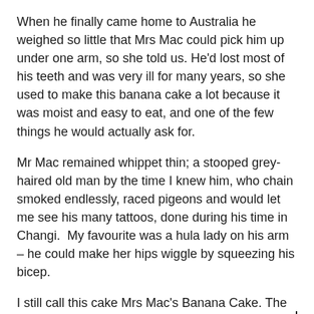When he finally came home to Australia he weighed so little that Mrs Mac could pick him up under one arm, so she told us. He'd lost most of his teeth and was very ill for many years, so she used to make this banana cake a lot because it was moist and easy to eat, and one of the few things he would actually ask for.
Mr Mac remained whippet thin; a stooped grey-haired old man by the time I knew him, who chain smoked endlessly, raced pigeons and would let me see his many tattoos, done during his time in Changi.  My favourite was a hula lady on his arm – he could make her hips wiggle by squeezing his bicep.
I still call this cake Mrs Mac's Banana Cake. The secret ingredient in this cake is love, so don't forget to add some of your own!